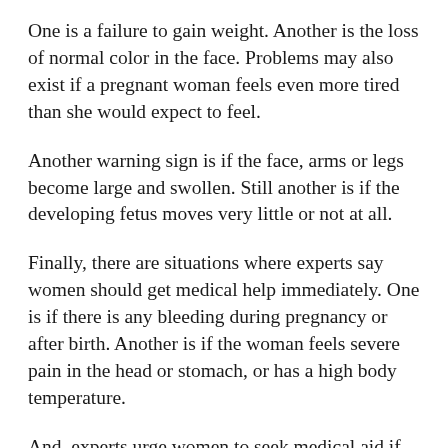One is a failure to gain weight. Another is the loss of normal color in the face. Problems may also exist if a pregnant woman feels even more tired than she would expect to feel.
Another warning sign is if the face, arms or legs become large and swollen. Still another is if the developing fetus moves very little or not at all.
Finally, there are situations where experts say women should get medical help immediately. One is if there is any bleeding during pregnancy or after birth. Another is if the woman feels severe pain in the head or stomach, or has a high body temperature.
And, experts urge women to seek medical aid if they have spent many hours trying to give birth without any